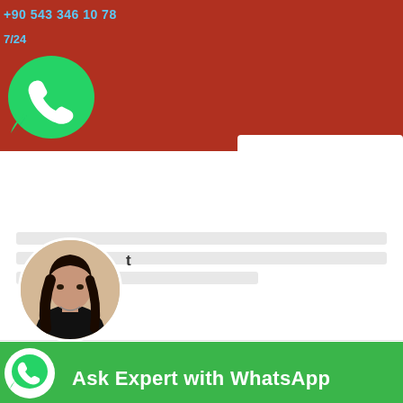+90 543 346 10 78
7/24
[Figure (logo): WhatsApp logo - green speech bubble with phone handset icon]
[Figure (photo): Portrait photo of a young woman with long dark hair, wearing a black top, in a circular frame]
t
[Figure (logo): WhatsApp logo small green icon in bottom bar]
Ask Expert with WhatsApp